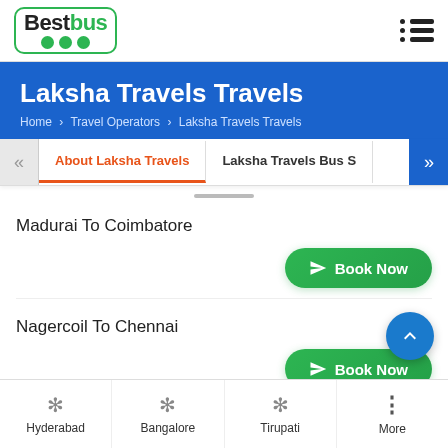[Figure (logo): BestBus logo with green bus icon and border]
Laksha Travels Travels
Home > Travel Operators > Laksha Travels Travels
About Laksha Travels
Laksha Travels Bus S
Madurai To Coimbatore
Book Now
Nagercoil To Chennai
Book Now
Hyderabad
Bangalore
Tirupati
More